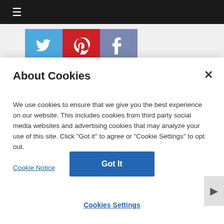[Figure (screenshot): Top black navigation bar with hamburger menu icon]
[Figure (screenshot): Social media sharing buttons: Twitter (blue bird), Pinterest (red P), Facebook (blue-gray f)]
About Cookies
We use cookies to ensure that we give you the best experience on our website. This includes cookies from third party social media websites and advertising cookies that may analyze your use of this site. Click "Got it" to agree or "Cookie Settings" to opt out.
Cookie Notice
Got It
Cookies Settings